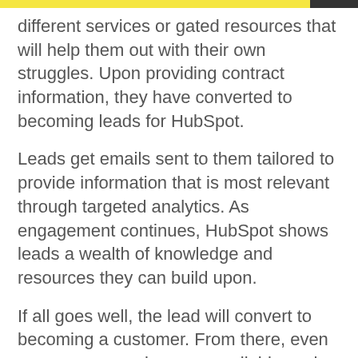different services or gated resources that will help them out with their own struggles. Upon providing contract information, they have converted to becoming leads for HubSpot.
Leads get emails sent to them tailored to provide information that is most relevant through targeted analytics. As engagement continues, HubSpot shows leads a wealth of knowledge and resources they can build upon.
If all goes well, the lead will convert to becoming a customer. From there, even more resources become available such as HubSpot Academy: A free online course and certification library for HubSpot customers to use